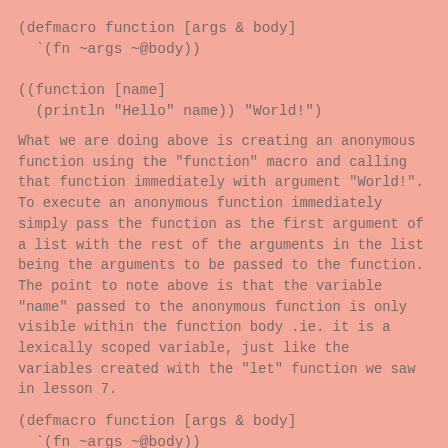(defmacro function [args & body]
  `(fn ~args ~@body))
((function [name]
  (println "Hello" name)) "World!")
What we are doing above is creating an anonymous function using the "function" macro and calling that function immediately with argument "World!". To execute an anonymous function immediately simply pass the function as the first argument of a list with the rest of the arguments in the list being the arguments to be passed to the function. The point to note above is that the variable "name" passed to the anonymous function is only visible within the function body .ie. it is a lexically scoped variable, just like the variables created with the "let" function we saw in lesson 7.
(defmacro function [args & body]
  `(fn ~args ~@body))
(println (macroexpand 1 `(function [name]